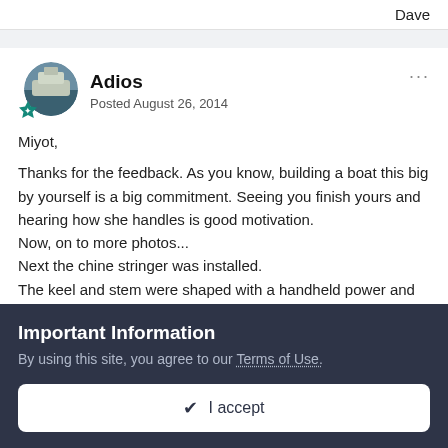Dave
[Figure (photo): Avatar photo of a boat, circular, with a teal badge/icon at bottom-left]
Adios
Posted August 26, 2014
Miyot,

Thanks for the feedback. As you know, building a boat this big by yourself is a big commitment. Seeing you finish yours and hearing how she handles is good motivation.
Now, on to more photos...
Next the chine stringer was installed.
The keel and stem were shaped with a handheld power and then manual planer. The concave portion of the stem was done with
Important Information
By using this site, you agree to our Terms of Use.
✔  I accept